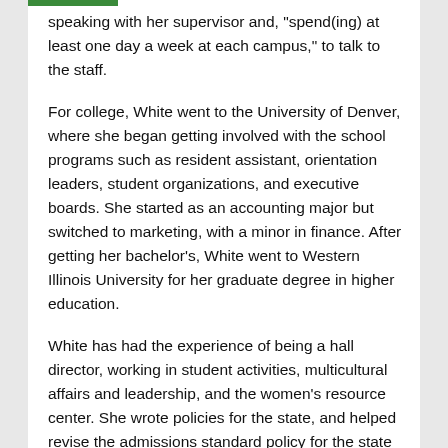speaking with her supervisor and, "spend(ing) at least one day a week at each campus," to talk to the staff.
For college, White went to the University of Denver, where she began getting involved with the school programs such as resident assistant, orientation leaders, student organizations, and executive boards. She started as an accounting major but switched to marketing, with a minor in finance. After getting her bachelor's, White went to Western Illinois University for her graduate degree in higher education.
White has had the experience of being a hall director, working in student activities, multicultural affairs and leadership, and the women's resource center. She wrote policies for the state, and helped revise the admissions standard policy for the state of Colorado. Afterwards, she moved onto the Colorado